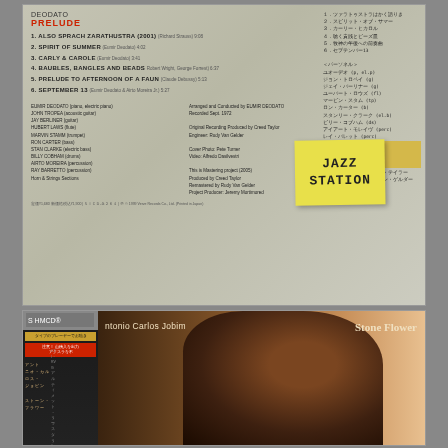[Figure (photo): Back cover of Deodato 'Prelude' CD (Japanese SHM-CD edition) showing tracklist in English and Japanese, musician credits, production notes, and a handwritten sticky note saying 'JAZZ STATION']
[Figure (photo): Front cover of Antonio Carlos Jobim 'Stone Flower' CD (Japanese CTI RVG SHM-CD edition) showing profile portrait of Jobim with Japanese OBI strip on the left side]